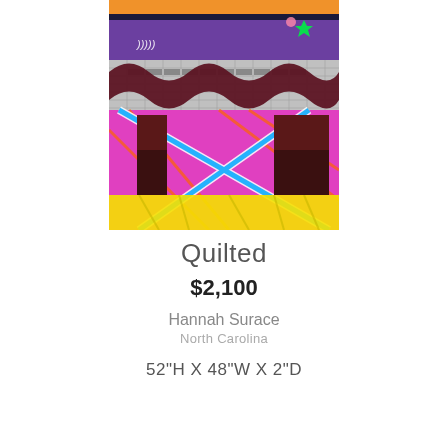[Figure (illustration): Colorful abstract quilt-style painting with purple, orange, dark red wavy patterns in upper section, a grid-like mosaic background, dark brown rectangular pillars, pink and magenta lower section with white and blue cross-hatch ribbons, and yellow brushstroke foreground. Small moon-like symbols and a green star in upper right.]
Quilted
$2,100
Hannah Surace
North Carolina
52"H X 48"W X 2"D